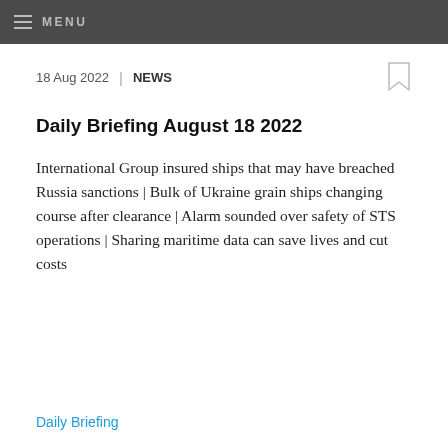MENU
18 Aug 2022 | NEWS
Daily Briefing August 18 2022
International Group insured ships that may have breached Russia sanctions | Bulk of Ukraine grain ships changing course after clearance | Alarm sounded over safety of STS operations | Sharing maritime data can save lives and cut costs
Daily Briefing